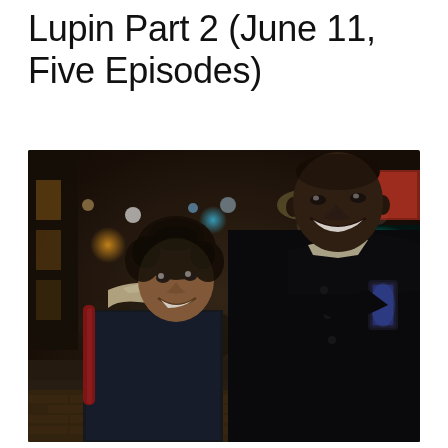Lupin Part 2 (June 11, Five Episodes)
[Figure (photo): Two people walking on a night street in a city. A teenage boy with curly hair wearing a denim jacket with a sherpa collar and a dark red backpack looks up smiling at a tall adult man in a black coat who is looking down at a phone and smiling. The background shows a busy lit street with colorful bokeh lights and storefronts.]